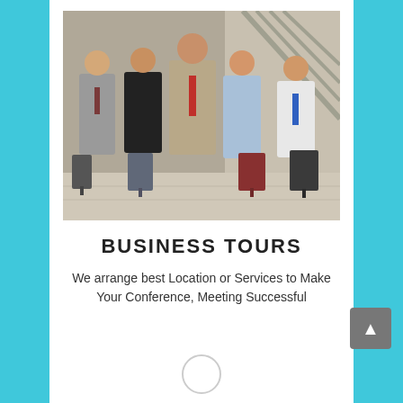[Figure (photo): Five business professionals (three men and two women) standing in an airport or transit hub with luggage, dressed in business attire.]
BUSINESS TOURS
We arrange best Location or Services to Make Your Conference, Meeting Successful